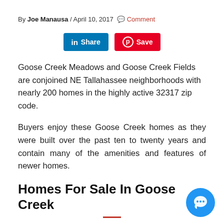By Joe Manausa / April 10, 2017 💬 Comment
[Figure (other): LinkedIn Share button and Pinterest Save button]
Goose Creek Meadows and Goose Creek Fields are conjoined NE Tallahassee neighborhoods with nearly 200 homes in the highly active 32317 zip code.
Buyers enjoy these Goose Creek homes as they were built over the past ten to twenty years and contain many of the amenities and features of newer homes.
Homes For Sale In Goose Creek
The following list of homes are the current, active listings in Goose Creek. All listings are updated 96 times daily!